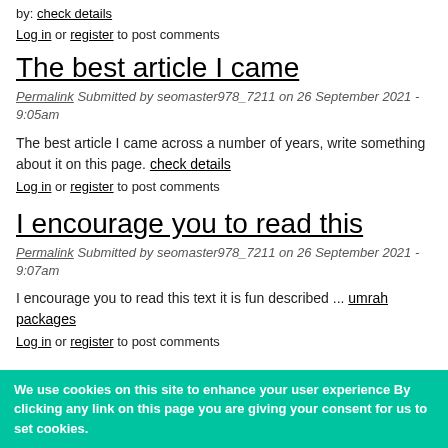by: check details
Log in or register to post comments
The best article I came
Permalink Submitted by seomaster978_7211 on 26 September 2021 - 9:05am
The best article I came across a number of years, write something about it on this page. check details
Log in or register to post comments
I encourage you to read this
Permalink Submitted by seomaster978_7211 on 26 September 2021 - 9:07am
I encourage you to read this text it is fun described ... umrah packages
Log in or register to post comments
We use cookies on this site to enhance your user experience By clicking any link on this page you are giving your consent for us to set cookies.